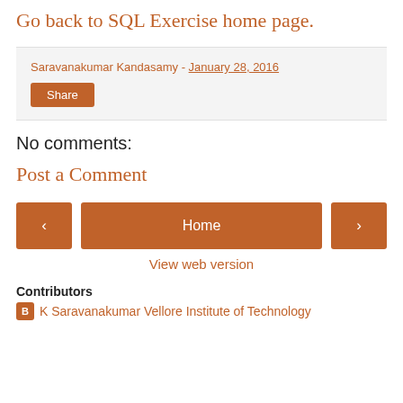Go back to SQL Exercise home page.
Saravanakumar Kandasamy - January 28, 2016
Share
No comments:
Post a Comment
< Home >
View web version
Contributors
K Saravanakumar Vellore Institute of Technology